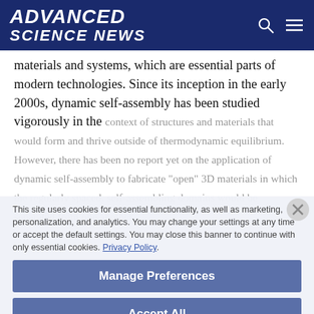ADVANCED SCIENCE NEWS
materials and systems, which are essential parts of modern technologies. Since its inception in the early 2000s, dynamic self-assembly has been studied vigorously in the context of structures and materials that would form and thrive outside of thermodynamic equilibrium. However, there has been no report yet on the application of dynamic self-assembly to fabricate “open” 3D materials in which the regularly spaced, self-assembling domains would be separated from one another.
This site uses cookies for essential functionality, as well as marketing, personalization, and analytics. You may change your settings at any time or accept the default settings. You may close this banner to continue with only essential cookies. Privacy Policy.
Manage Preferences
Accept All
Reject All